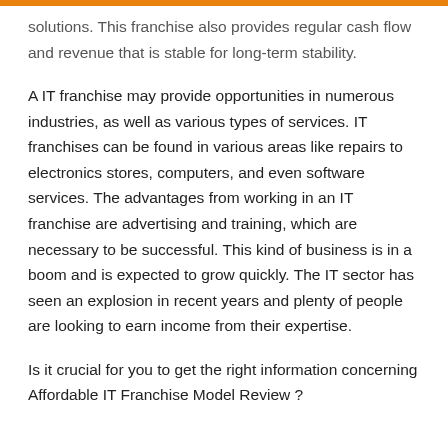[orange bar header]
solutions. This franchise also provides regular cash flow and revenue that is stable for long-term stability.
A IT franchise may provide opportunities in numerous industries, as well as various types of services. IT franchises can be found in various areas like repairs to electronics stores, computers, and even software services. The advantages from working in an IT franchise are advertising and training, which are necessary to be successful. This kind of business is in a boom and is expected to grow quickly. The IT sector has seen an explosion in recent years and plenty of people are looking to earn income from their expertise.
Is it crucial for you to get the right information concerning Affordable IT Franchise Model Review ?